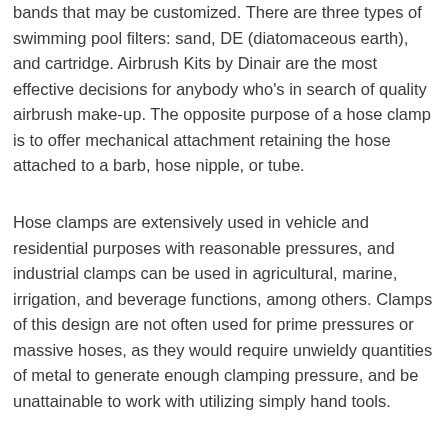bands that may be customized. There are three types of swimming pool filters: sand, DE (diatomaceous earth), and cartridge. Airbrush Kits by Dinair are the most effective decisions for anybody who's in search of quality airbrush make-up. The opposite purpose of a hose clamp is to offer mechanical attachment retaining the hose attached to a barb, hose nipple, or tube.
Hose clamps are extensively used in vehicle and residential purposes with reasonable pressures, and industrial clamps can be used in agricultural, marine, irrigation, and beverage functions, among others. Clamps of this design are not often used for prime pressures or massive hoses, as they would require unwieldy quantities of metal to generate enough clamping pressure, and be unattainable to work with utilizing simply hand tools.